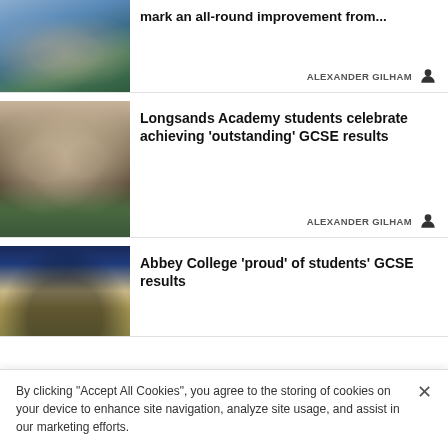[Figure (photo): Two teenagers smiling, wearing jackets, holding papers, partially cropped at top]
Huntingdon's results 2022 results mark an all-round improvement from...
ALEXANDER GILHAM
[Figure (photo): Two smiling teenage girls holding papers, standing together]
Longsands Academy students celebrate achieving 'outstanding' GCSE results
ALEXANDER GILHAM
[Figure (photo): Group of students holding papers at Abbey College]
Abbey College 'proud' of students' GCSE results
By clicking "Accept All Cookies", you agree to the storing of cookies on your device to enhance site navigation, analyze site usage, and assist in our marketing efforts.